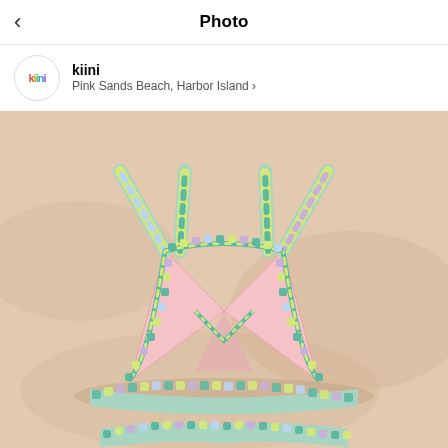Photo
kiini
Pink Sands Beach, Harbor Island >
[Figure (photo): Colorful crocheted bikini set laid flat on sandy beach. The bikini top has a triangle/bralette style with multicolor crochet trim in teal, yellow, lavender, and blue with pink fabric center. The bikini bottom is also visible at the bottom of the image. Both pieces are laid on light pink/beige sand.]